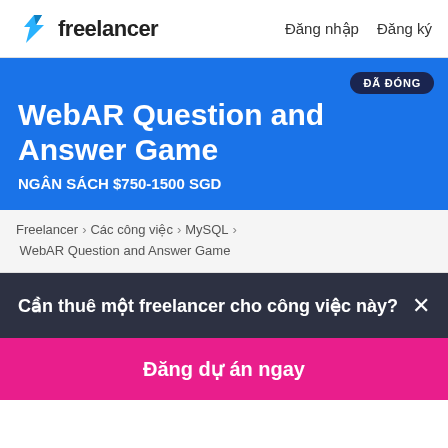Freelancer  Đăng nhập  Đăng ký
WebAR Question and Answer Game
NGÂN SÁCH $750-1500 SGD
ĐÃ ĐÓNG
Freelancer › Các công việc › MySQL › WebAR Question and Answer Game
Cần thuê một freelancer cho công việc này? ×
Đăng dự án ngay